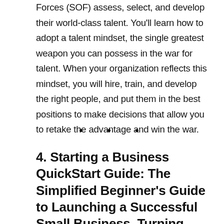Forces (SOF) assess, select, and develop their world-class talent. You'll learn how to adopt a talent mindset, the single greatest weapon you can possess in the war for talent. When your organization reflects this mindset, you will hire, train, and develop the right people, and put them in the best positions to make decisions that allow you to retake the advantage and win the war.
• • •
4. Starting a Business QuickStart Guide: The Simplified Beginner's Guide to Launching a Successful Small Business, Turning Your Vision into Reality, and Achieving Your Entrepreneurial Dream